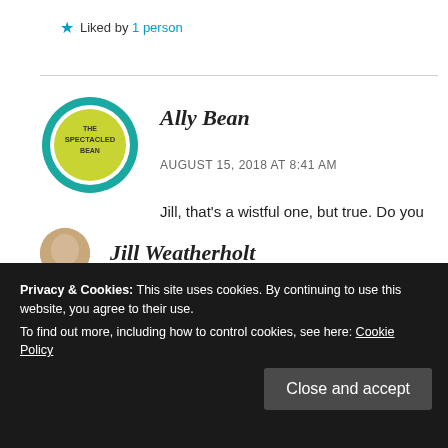★ Liked by 1 person
[Figure (logo): The Spectacled Bean circular logo with teal border and yellow-green center]
Ally Bean
AUGUST 15, 2018 AT 8:41 AM
Jill, that's a wistful one, but true. Do you suppose any kid ever understands how quickly it goes by? I didn't at the time.
Privacy & Cookies: This site uses cookies. By continuing to use this website, you agree to their use.
To find out more, including how to control cookies, see here: Cookie Policy
Close and accept
Jill Weatherholt